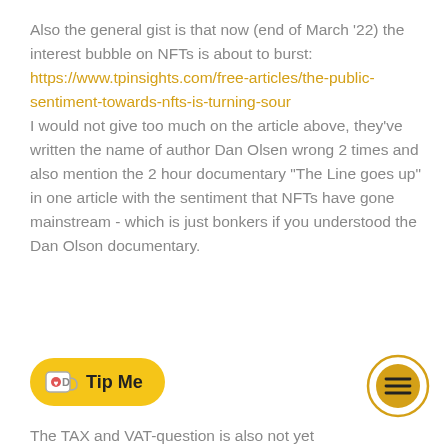Also the general gist is that now (end of March '22) the interest bubble on NFTs is about to burst: https://www.tpinsights.com/free-articles/the-public-sentiment-towards-nfts-is-turning-sour I would not give too much on the article above, they've written the name of author Dan Olsen wrong 2 times and also mention the 2 hour documentary "The Line goes up" in one article with the sentiment that NFTs have gone mainstream - which is just bonkers if you understood the Dan Olson documentary.
[Figure (other): Tip Me button with Ko-fi cup icon]
[Figure (other): Menu hamburger button in golden circle]
The TAX and VAT-question is also not yet